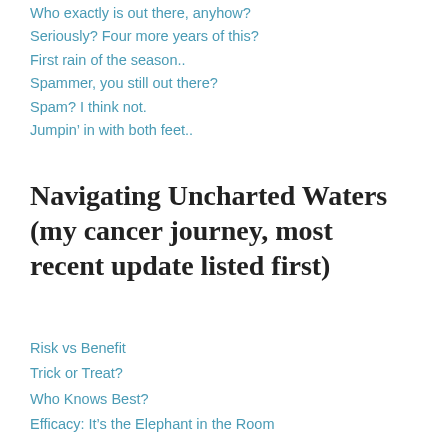Who exactly is out there, anyhow?
Seriously? Four more years of this?
First rain of the season..
Spammer, you still out there?
Spam? I think not.
Jumpin’ in with both feet..
Navigating Uncharted Waters (my cancer journey, most recent update listed first)
Risk vs Benefit
Trick or Treat?
Who Knows Best?
Efficacy: It’s the Elephant in the Room